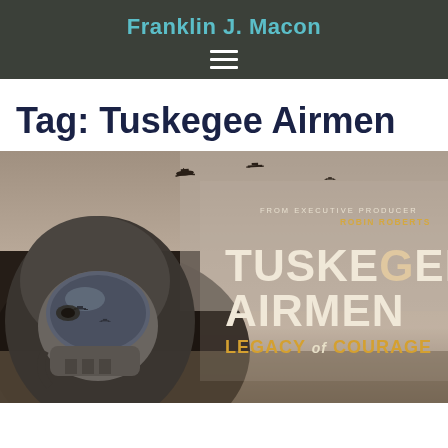Franklin J. Macon
Tag: Tuskegee Airmen
[Figure (photo): Movie promotional poster for 'Tuskegee Airmen: Legacy of Courage' from Executive Producer Robin Roberts. Shows a WWII pilot in full flight gear and oxygen mask with aircraft reflections in the visor, against a sepia-toned sky with silhouettes of planes flying overhead.]